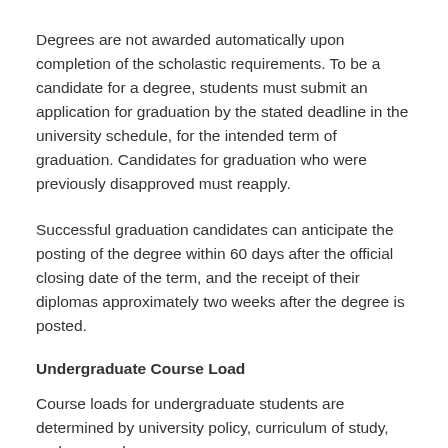Degrees are not awarded automatically upon completion of the scholastic requirements. To be a candidate for a degree, students must submit an application for graduation by the stated deadline in the university schedule, for the intended term of graduation. Candidates for graduation who were previously disapproved must reapply.
Successful graduation candidates can anticipate the posting of the degree within 60 days after the official closing date of the term, and the receipt of their diplomas approximately two weeks after the degree is posted.
Undergraduate Course Load
Course loads for undergraduate students are determined by university policy, curriculum of study, and personal